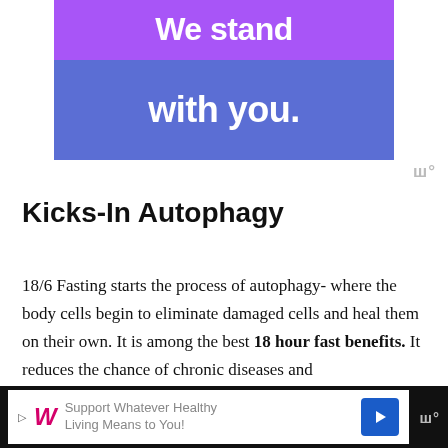[Figure (illustration): Advertisement banner with purple top section showing 'We stand' and blue bottom section showing 'with you.' text in white bold font]
Kicks-In Autophagy
18/6 Fasting starts the process of autophagy- where the body cells begin to eliminate damaged cells and heal them on their own. It is among the best 18 hour fast benefits. It reduces the chance of chronic diseases and fa...
[Figure (illustration): Walgreens advertisement banner at bottom: 'Support Whatever Healthy Living Means to You!' with Walgreens logo and blue arrow icon]